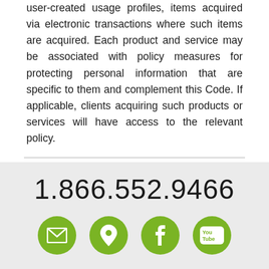user-created usage profiles, items acquired via electronic transactions where such items are acquired. Each product and service may be associated with policy measures for protecting personal information that are specific to them and complement this Code. If applicable, clients acquiring such products or services will have access to the relevant policy.
1.866.552.9466